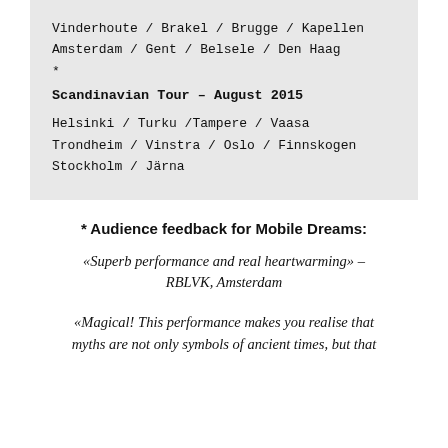Vinderhoute / Brakel / Brugge / Kapellen
Amsterdam / Gent / Belsele / Den Haag
*
Scandinavian Tour – August 2015
Helsinki / Turku /Tampere / Vaasa
Trondheim / Vinstra / Oslo / Finnskogen
Stockholm / Järna
* Audience feedback for Mobile Dreams:
«Superb performance and real heartwarming» – RBLVK, Amsterdam
«Magical! This performance makes you realise that myths are not only symbols of ancient times, but that